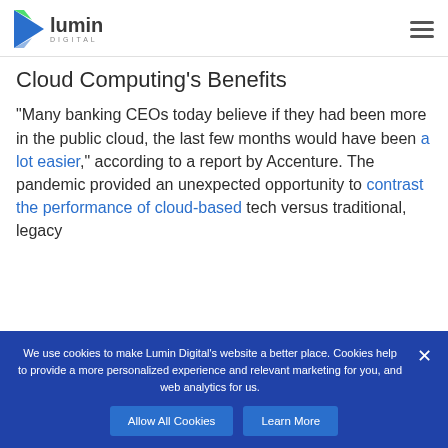Lumin Digital
Cloud Computing’s Benefits
“Many banking CEOs today believe if they had been more in the public cloud, the last few months would have been a lot easier,” according to a report by Accenture. The pandemic provided an unexpected opportunity to contrast the performance of cloud-based tech versus traditional, legacy
We use cookies to make Lumin Digital’s website a better place. Cookies help to provide a more personalized experience and relevant marketing for you, and web analytics for us.
Allow All Cookies | Learn More